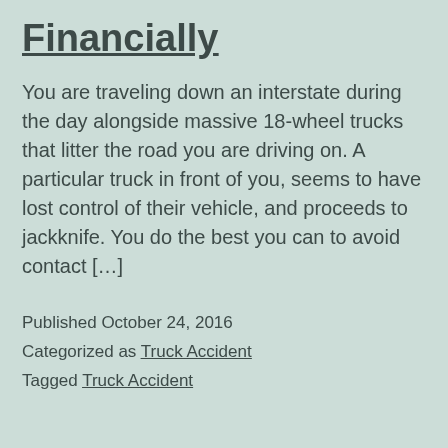Financially
You are traveling down an interstate during the day alongside massive 18-wheel trucks that litter the road you are driving on. A particular truck in front of you, seems to have lost control of their vehicle, and proceeds to jackknife. You do the best you can to avoid contact […]
Published October 24, 2016
Categorized as Truck Accident
Tagged Truck Accident